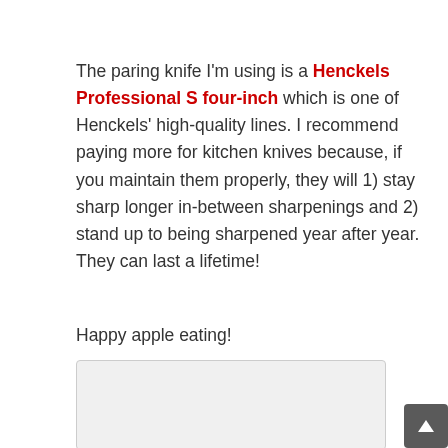The paring knife I'm using is a Henckels Professional S four-inch which is one of Henckels' high-quality lines. I recommend paying more for kitchen knives because, if you maintain them properly, they will 1) stay sharp longer in-between sharpenings and 2) stand up to being sharpened year after year. They can last a lifetime!
Happy apple eating!
[Figure (other): Light gray rectangular box, likely an image placeholder or comment box]